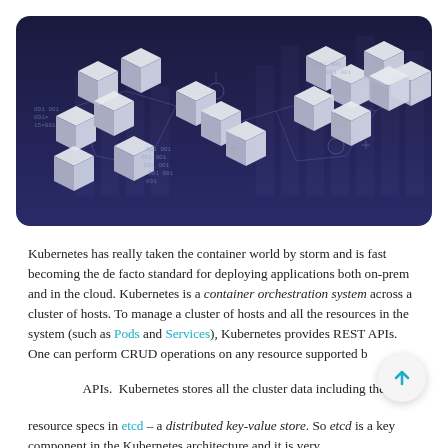[Figure (illustration): Dark blue/purple background with white 3D cube shapes connected in a blockchain/network pattern, with binary code numbers scattered across. Bar chart outlines visible in background. Decorative tech/blockchain themed hero image.]
Kubernetes has really taken the container world by storm and is fast becoming the de facto standard for deploying applications both on-prem and in the cloud. Kubernetes is a container orchestration system across a cluster of hosts. To manage a cluster of hosts and all the resources in the system (such as Pods and Services), Kubernetes provides REST APIs. One can perform CRUD operations on any resource supported by the APIs. Kubernetes stores all the cluster data including the resource specs in etcd – a distributed key-value store. So etcd is a key component in the Kubernetes architecture and it is very